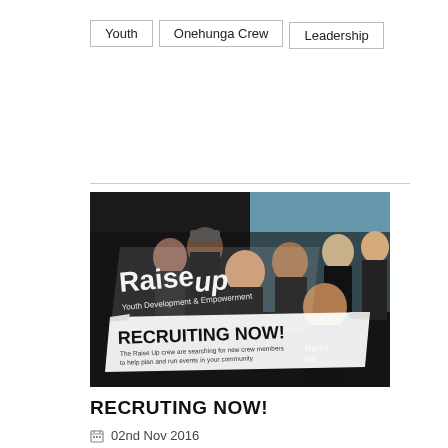Youth
Onehunga Crew
Leadership
[Figure (photo): Group photo of young people in black RaiseUp crew shirts, with RaiseUp Youth Development & Empowerment branding and a 'Recruiting Now!' flyer overlay]
RECRUTING NOW!
02nd Nov 2016